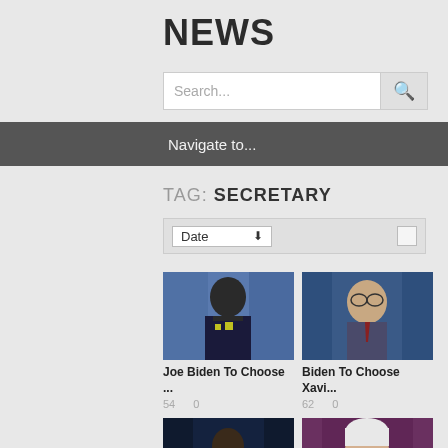NEWS
[Figure (screenshot): Search input field with search icon button]
Navigate to...
TAG: SECRETARY
[Figure (screenshot): Date dropdown sort selector with checkbox]
[Figure (photo): Military officer in uniform at podium with US flag background]
Joe Biden To Choose ...
54   0
[Figure (photo): Man in glasses against US flags background - Xavier Becerra]
Biden To Choose Xavi...
62   0
[Figure (photo): Black man speaking on dark stage with pointing fingers gesture]
[Figure (photo): Older white-haired woman smiling - Janet Yellen]